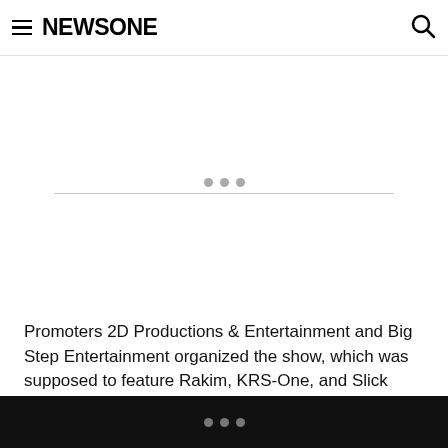NEWSONE
[Figure (other): Advertisement banner area with three dots and horizontal rule]
Promoters 2D Productions & Entertainment and Big Step Entertainment organized the show, which was supposed to feature Rakim, KRS-One, and Slick Rick. Chubb Rock and JJ Fad were also on the bill as special guests.
But on October 1st, the operating company AEG